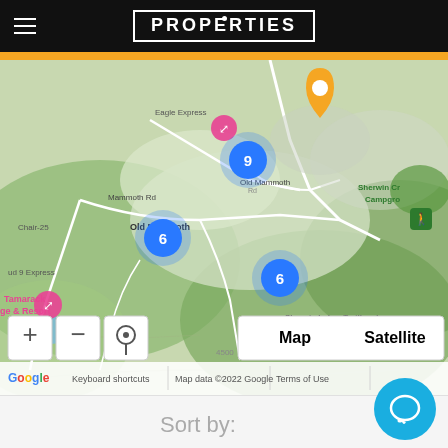PROPERTIES
[Figure (map): Google Map centered on Old Mammoth area, Mammoth Lakes CA, showing terrain with green hills and roads. Blue cluster markers labeled 9 and 6 (twice) indicate property listings. An orange pin marks a selected location on Old Mammoth Rd. Pink heart-shaped markers indicate points of interest (Tamarack Lodge & Resort, Eagle Express area). Sherwin Lakes Trailhead and Sherwin Creek Campground visible. Map controls: +, -, locate buttons. Map/Satellite toggle. Google branding, Keyboard shortcuts, Map data ©2022 Google, Terms of Use in footer bar.]
Sort by: